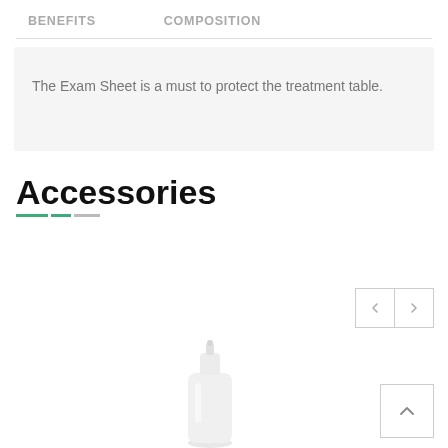BENEFITS   COMPOSITION
The Exam Sheet is a must to protect the treatment table.
Accessories
[Figure (other): White pump/spray bottle product image at bottom of page]
[Figure (other): Navigation arrows (left and right chevron buttons) for accessories carousel]
[Figure (other): Scroll-to-top button with upward chevron]